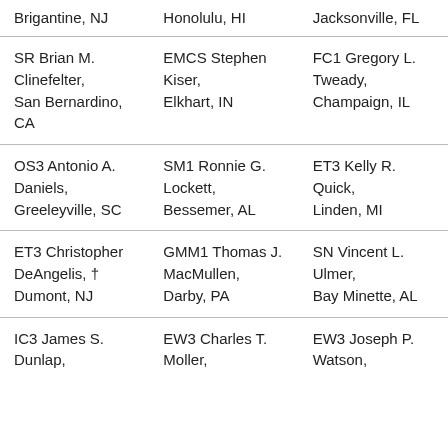Brigantine, NJ
Honolulu, HI
Jacksonville, FL
SR Brian M. Clinefelter, San Bernardino, CA
EMCS Stephen Kiser, Elkhart, IN
FC1 Gregory L. Tweady, Champaign, IL
OS3 Antonio A. Daniels, Greeleyville, SC
SM1 Ronnie G. Lockett, Bessemer, AL
ET3 Kelly R. Quick, Linden, MI
ET3 Christopher DeAngelis, † Dumont, NJ
GMM1 Thomas J. MacMullen, Darby, PA
SN Vincent L. Ulmer, Bay Minette, AL
IC3 James S. Dunlap,
EW3 Charles T. Moller,
EW3 Joseph P. Watson,